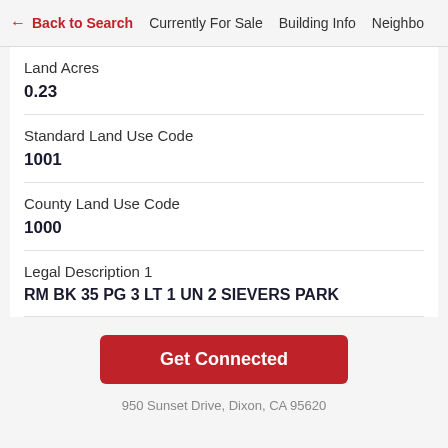← Back to Search   Currently For Sale   Building Info   Neighbo
Land Acres
0.23
Standard Land Use Code
1001
County Land Use Code
1000
Legal Description 1
RM BK 35 PG 3 LT 1 UN 2 SIEVERS PARK
Get Connected
950 Sunset Drive, Dixon, CA 95620